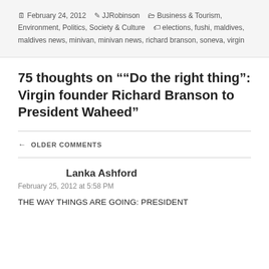February 24, 2012  JJRobinson  Business & Tourism, Environment, Politics, Society & Culture  elections, fushi, maldives, maldives news, minivan, minivan news, richard branson, soneva, virgin
75 thoughts on "“Do the right thing”: Virgin founder Richard Branson to President Waheed"
← OLDER COMMENTS
Lanka Ashford
February 25, 2012 at 5:58 PM
THE WAY THINGS ARE GOING: PRESIDENT